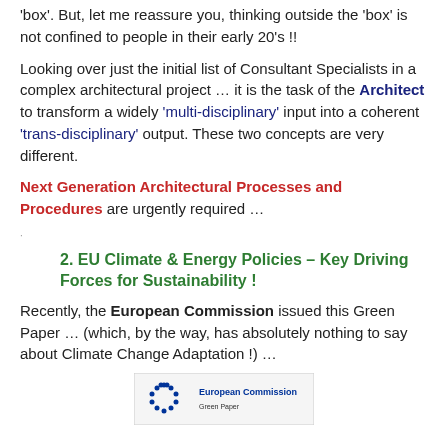'box'.  But, let me reassure you, thinking outside the 'box' is not confined to people in their early 20's !!
Looking over just the initial list of Consultant Specialists in a complex architectural project … it is the task of the Architect to transform a widely 'multi-disciplinary' input into a coherent 'trans-disciplinary' output.  These two concepts are very different.
Next Generation Architectural Processes and Procedures are urgently required …
2.  EU Climate & Energy Policies – Key Driving Forces for Sustainability !
Recently, the European Commission issued this Green Paper … (which, by the way, has absolutely nothing to say about Climate Change Adaptation !) …
[Figure (logo): EU / European Commission logo or document cover image, partially visible at bottom of page]